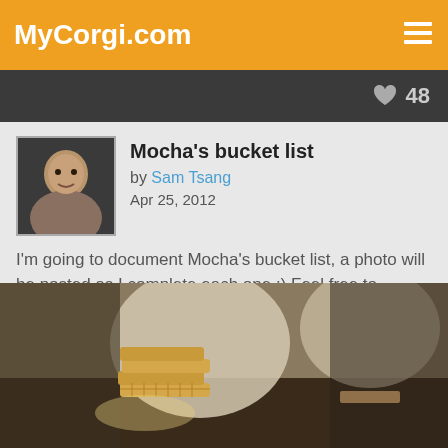MyCorgi.com
48
Mocha's bucket list
by Sam Tsang
Apr 25, 2012
I'm going to document Mocha's bucket list,  a photo will be posted as I complete each one :) Feel free to suggest one for us!
1. Eat lots of homemade waffles
[Figure (photo): Photo of stacked homemade waffles on a dark table with blurred chairs in the background]